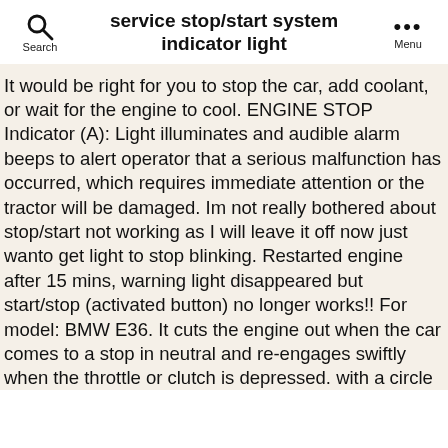service stop/start system indicator light
It would be right for you to stop the car, add coolant, or wait for the engine to cool. ENGINE STOP Indicator (A): Light illuminates and audible alarm beeps to alert operator that a serious malfunction has occurred, which requires immediate attention or the tractor will be damaged. Im not really bothered about stop/start not working as I will leave it off now just wanto get light to stop blinking. Restarted engine after 15 mins, warning light disappeared but start/stop (activated button) no longer works!! For model: BMW E36. It cuts the engine out when the car comes to a stop in neutral and re-engages swiftly when the throttle or clutch is depressed. with a circle around it. I had to disconnect the battery and once I hooked it back up, 'BING!' Vehicles without a Smart Key System: The indicator light flashes after the key has been removed from the engine switch to indicate that the system is operating. There are several things that can cause it but